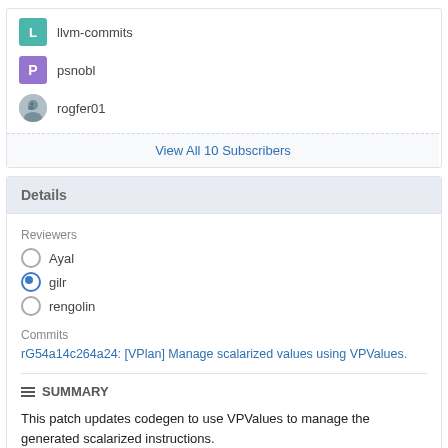llvm-commits
psnobl
rogfer01
View All 10 Subscribers
Details
Reviewers
Ayal
gilr
rengolin
Commits
rG54a14c264a24: [VPlan] Manage scalarized values using VPValues.
SUMMARY
This patch updates codegen to use VPValues to manage the generated scalarized instructions.